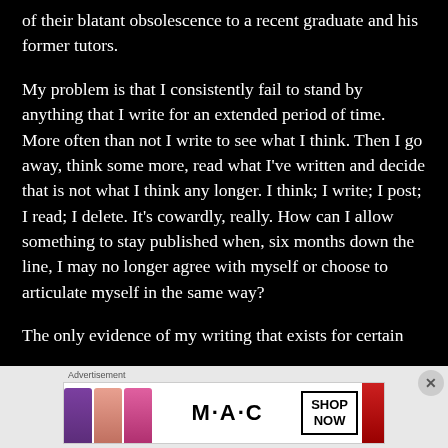of their blatant obsolescence to a recent graduate and his former tutors.
My problem is that I consistently fail to stand by anything that I write for an extended period of time. More often than not I write to see what I think. Then I go away, think some more, read what I've written and decide that is not what I think any longer. I think; I write; I post; I read; I delete. It's cowardly, really. How can I allow something to stay published when, six months down the line, I may no longer agree with myself or choose to articulate myself in the same way?
The only evidence of my writing that exists for certain
[Figure (infographic): MAC cosmetics advertisement showing colorful lipsticks with MAC logo and SHOP NOW button]